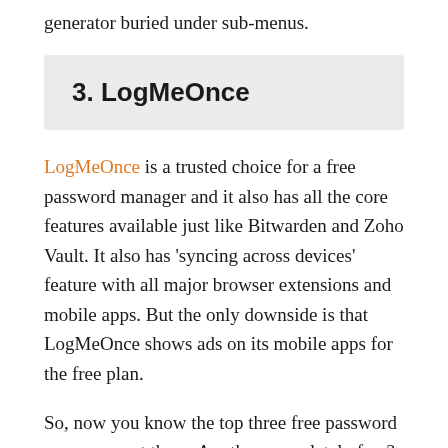generator buried under sub-menus.
3. LogMeOnce
LogMeOnce is a trusted choice for a free password manager and it also has all the core features available just like Bitwarden and Zoho Vault. It also has 'syncing across devices' feature with all major browser extensions and mobile apps. But the only downside is that LogMeOnce shows ads on its mobile apps for the free plan.
So, now you know the top three free password managers out there. Are they completely free? Yes,